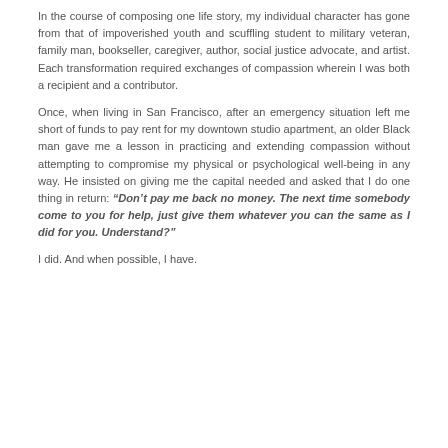In the course of composing one life story, my individual character has gone from that of impoverished youth and scuffling student to military veteran, family man, bookseller, caregiver, author, social justice advocate, and artist. Each transformation required exchanges of compassion wherein I was both a recipient and a contributor.
Once, when living in San Francisco, after an emergency situation left me short of funds to pay rent for my downtown studio apartment, an older Black man gave me a lesson in practicing and extending compassion without attempting to compromise my physical or psychological well-being in any way. He insisted on giving me the capital needed and asked that I do one thing in return: “Don’t pay me back no money. The next time somebody come to you for help, just give them whatever you can the same as I did for you. Understand?”
I did. And when possible, I have.